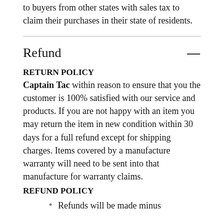to buyers from other states with sales tax to claim their purchases in their state of residents.
Refund
RETURN POLICY
Captain Tac within reason to ensure that you the customer is 100% satisfied with our service and products. If you are not happy with an item you may return the item in new condition within 30 days for a full refund except for shipping charges. Items covered by a manufacture warranty will need to be sent into that manufacture for warranty claims.
REFUND POLICY
Refunds will be made minus